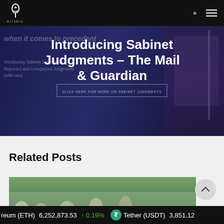[Figure (screenshot): Bit2Big website navigation bar with logo on left, search and menu icons on right, black background]
[Figure (photo): Hero banner with dark navy/purple overlay showing Lady Justice statue on right side, with bold white title text overlaid: 'Introducing Sabinet Judgments – The Mail & Guardian'. Background text partially visible mentioning Sabinet Judgments, Reported and Unreported Judgments. A button/link reads 'CLICK HERE FOR MORE ON SABINET JUDGMENTS'.]
Introducing Sabinet Judgments – The Mail & Guardian
Related Posts
[Figure (photo): Outdoor photo showing people walking, appears to be in an African city setting with trees in background. Light gray/green tones.]
reum (ETH)   6,252,873.53   ↑ 0.19%   Tether (USDT)   3,851.12